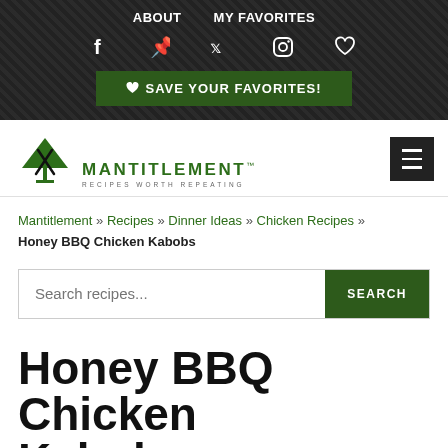ABOUT   MY FAVORITES
[Figure (screenshot): Social media icons: Facebook, Pinterest, Twitter, Instagram, heart/favorites]
♥ SAVE YOUR FAVORITES!
[Figure (logo): Mantitlement logo with green martini glass/fork/spoon icon and text MANTITLEMENT RECIPES WORTH REPEATING]
Mantitlement » Recipes » Dinner Ideas » Chicken Recipes » Honey BBQ Chicken Kabobs
Search recipes...
Honey BBQ Chicken Kabobs